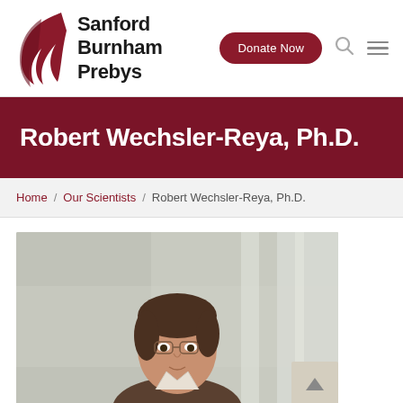[Figure (logo): Sanford Burnham Prebys logo with stylized feather/flame icon in dark red and bold black text]
Robert Wechsler-Reya, Ph.D.
Home / Our Scientists / Robert Wechsler-Reya, Ph.D.
[Figure (photo): Professional headshot of Robert Wechsler-Reya, Ph.D., a man with brown hair and glasses, wearing business casual attire, against a light blurred background]